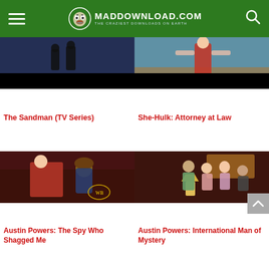MADDOWNLOAD.COM - THE CRAZIEST DOWNLOADS ON EARTH
[Figure (screenshot): The Sandman TV Series thumbnail - dark scene with two figures standing]
The Sandman (TV Series)
[Figure (screenshot): She-Hulk: Attorney at Law thumbnail - woman in red top on beach]
She-Hulk: Attorney at Law
[Figure (screenshot): Austin Powers: The Spy Who Shagged Me thumbnail - woman with brown hair in bar scene]
Austin Powers: The Spy Who Shagged Me
[Figure (screenshot): Austin Powers: International Man of Mystery thumbnail - group of people at bar with lamp]
Austin Powers: International Man of Mystery